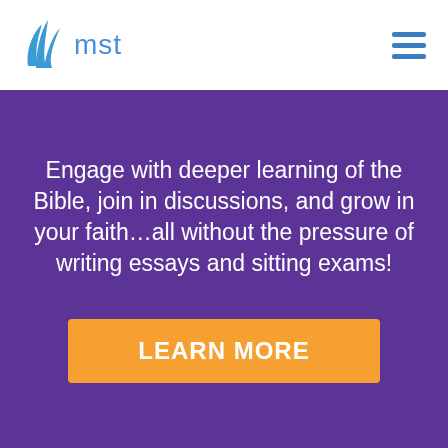[Figure (logo): MST logo with blue leaf/flame icon and blue text 'mst']
[Figure (other): Hamburger menu icon with three blue horizontal lines]
Engage with deeper learning of the Bible, join in discussions, and grow in your faith…all without the pressure of writing essays and sitting exams!
LEARN MORE